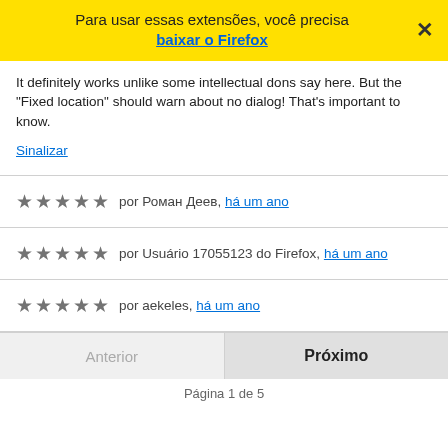[Figure (screenshot): Yellow banner with text 'Para usar essas extensões, você precisa baixar o Firefox' and a close button X]
It definitely works unlike some intellectual dons say here. But the "Fixed location" should warn about no dialog! That's important to know.
Sinalizar
★★★★★ por Роман Деев, há um ano
★★★★★ por Usuário 17055123 do Firefox, há um ano
★★★★★ por aekeles, há um ano
Anterior   Próximo   Página 1 de 5